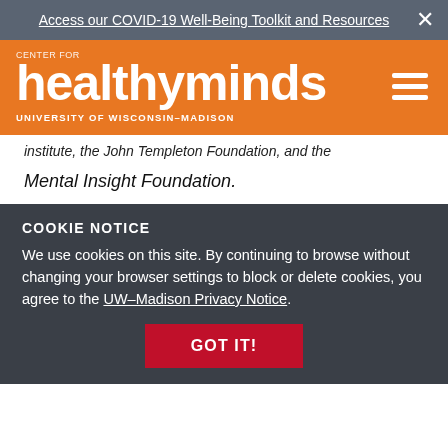Access our COVID-19 Well-Being Toolkit and Resources
[Figure (logo): Center for healthyminds University of Wisconsin-Madison logo on orange background with hamburger menu icon]
...institute, the John Templeton Foundation, and the Mental Insight Foundation.
COOKIE NOTICE
We use cookies on this site. By continuing to browse without changing your browser settings to block or delete cookies, you agree to the UW–Madison Privacy Notice.
GOT IT!